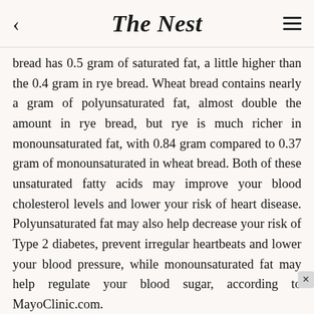The Nest
bread has 0.5 gram of saturated fat, a little higher than the 0.4 gram in rye bread. Wheat bread contains nearly a gram of polyunsaturated fat, almost double the amount in rye bread, but rye is much richer in monounsaturated fat, with 0.84 gram compared to 0.37 gram of monounsaturated in wheat bread. Both of these unsaturated fatty acids may improve your blood cholesterol levels and lower your risk of heart disease. Polyunsaturated fat may also help decrease your risk of Type 2 diabetes, prevent irregular heartbeats and lower your blood pressure, while monounsaturated fat may help regulate your blood sugar, according to MayoClinic.com.